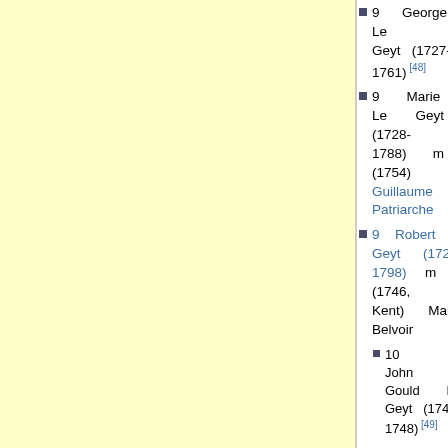9 George Le Geyt (1727-1761) [48]
9 Marie Le Geyt (1728-1788) m (1754) Guillaume Patriarche
9 Robert Le Geyt (1721-1798) m 1 (1746, Kent) Maria Belvoir
10 John Gould Le Geyt (1747-1748) [49]
10 Robert Le Geyt (1750- ) [50]
10 Robert Le Geyt (1757-